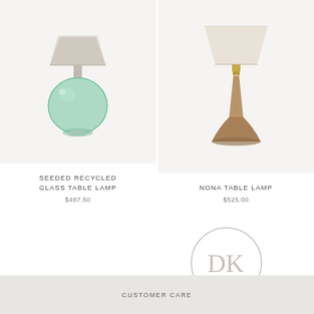[Figure (photo): Seeded recycled glass table lamp with round green glass base and linen shade, shown on light grey background]
SEEDED RECYCLED GLASS TABLE LAMP
$487.50
[Figure (photo): Nona table lamp with tall tapered wooden base in warm brown and white shade, shown on light grey background]
NONA TABLE LAMP
$525.00
[Figure (logo): DK monogram logo inside a thin circle]
CUSTOMER CARE